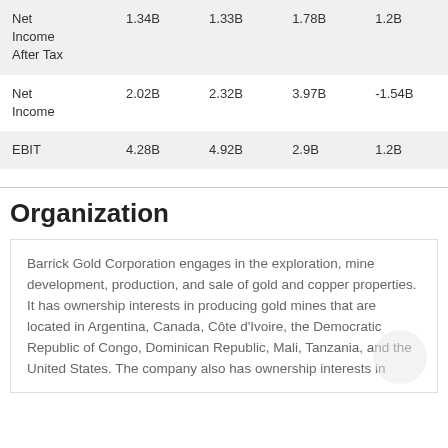| Net Income After Tax | 1.34B | 1.33B | 1.78B | 1.2B |
| Net Income | 2.02B | 2.32B | 3.97B | -1.54B |
| EBIT | 4.28B | 4.92B | 2.9B | 1.2B |
Organization
Barrick Gold Corporation engages in the exploration, mine development, production, and sale of gold and copper properties. It has ownership interests in producing gold mines that are located in Argentina, Canada, Côte d'Ivoire, the Democratic Republic of Congo, Dominican Republic, Mali, Tanzania, and the United States. The company also has ownership interests in